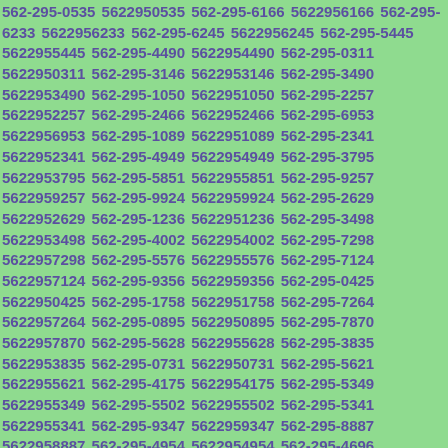562-295-0535 5622950535 562-295-6166 5622956166 562-295-6233 5622956233 562-295-6245 5622956245 562-295-5445 5622955445 562-295-4490 5622954490 562-295-0311 5622950311 562-295-3146 5622953146 562-295-3490 5622953490 562-295-1050 5622951050 562-295-2257 5622952257 562-295-2466 5622952466 562-295-6953 5622956953 562-295-1089 5622951089 562-295-2341 5622952341 562-295-4949 5622954949 562-295-3795 5622953795 562-295-5851 5622955851 562-295-9257 5622959257 562-295-9924 5622959924 562-295-2629 5622952629 562-295-1236 5622951236 562-295-3498 5622953498 562-295-4002 5622954002 562-295-7298 5622957298 562-295-5576 5622955576 562-295-7124 5622957124 562-295-9356 5622959356 562-295-0425 5622950425 562-295-1758 5622951758 562-295-7264 5622957264 562-295-0895 5622950895 562-295-7870 5622957870 562-295-5628 5622955628 562-295-3835 5622953835 562-295-0731 5622950731 562-295-5621 5622955621 562-295-4175 5622954175 562-295-5349 5622955349 562-295-5502 5622955502 562-295-5341 5622955341 562-295-9347 5622959347 562-295-8887 5622958887 562-295-4954 5622954954 562-295-4696 5622954696 562-295-8757 5622958757 562-295-6969 5622956969 562-295-5195 5622955195 562-295-7285 5622957285 562-295-9657 5622959657 562-295-4660 5622954660 562-295-8893 5622958893 562-295-2641 5622952641 562-295-5835 5622955835 562-295-3794 5622953794 562-295-1762 5622951762 562-295-3873 5622953873 562-295-6556 5622956556 562-295-4798 5622954798 562-295-5630 5622955630 562-295-9128 5622959128 562-295-9203 5622959203 562-295-4...